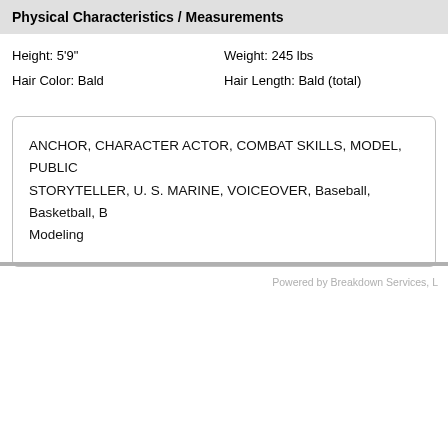Physical Characteristics / Measurements
Height: 5'9"
Weight: 245 lbs
Hair Color: Bald
Hair Length: Bald (total)
ANCHOR, CHARACTER ACTOR, COMBAT SKILLS, MODEL, PUBLIC STORYTELLER, U. S. MARINE, VOICEOVER, Baseball, Basketball, B Modeling
Powered by Breakdown Services, L